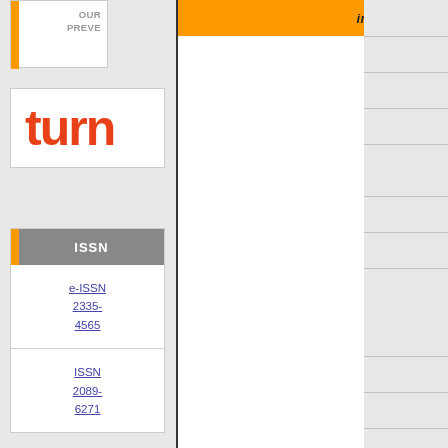OUR PREVE
[Figure (logo): turn logo in red/orange text]
ISSN
e-ISSN 2335-4565
ISSN 2089-6271
international